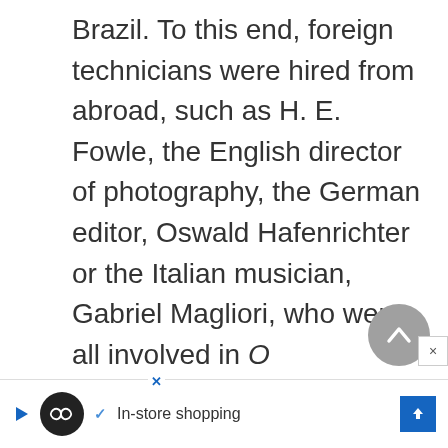Brazil. To this end, foreign technicians were hired from abroad, such as H. E. Fowle, the English director of photography, the German editor, Oswald Hafenrichter or the Italian musician, Gabriel Magliori, who were all involved in O Cangaceiro. The artistic direction was by the famous painter Caribé, while the dialogues were written by the distinguished Rachel de Queiróz.
[Figure (other): Gray circular scroll-to-top button with an upward chevron arrow, and a small close (×) button beside it]
[Figure (other): Advertisement bar at the bottom showing a play icon, a dark circular logo with an infinity symbol, a checkmark, text 'In-store shopping', and a blue diamond arrow icon]